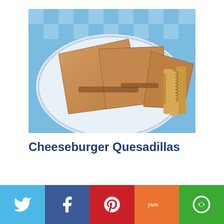[Figure (photo): Photo of cheeseburger quesadillas cut into wedges and served on a blue and white plate with crinkle-cut french fries]
Cheeseburger Quesadillas
[Figure (infographic): Social sharing bar with five buttons: Twitter (light blue), Facebook (dark blue), Pinterest (red), Yummly (orange), and a green share button]